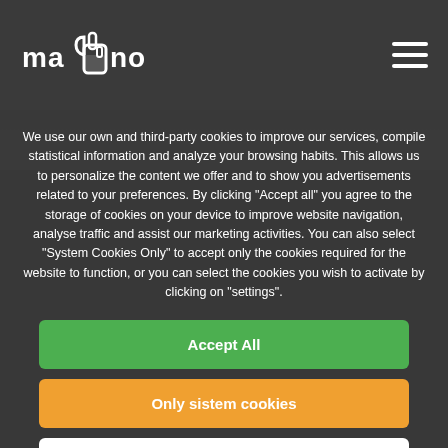[Figure (logo): Mano logo with hand icon in top-left of dark navigation bar]
We use our own and third-party cookies to improve our services, compile statistical information and analyze your browsing habits. This allows us to personalize the content we offer and to show you advertisements related to your preferences. By clicking "Accept all" you agree to the storage of cookies on your device to improve website navigation, analyse traffic and assist our marketing activities. You can also select "System Cookies Only" to accept only the cookies required for the website to function, or you can select the cookies you wish to activate by clicking on "settings".
Accept All
Only sistem cookies
Configuration